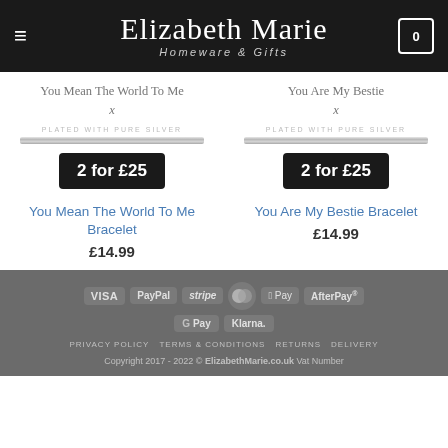Elizabeth Marie Homeware & Gifts
[Figure (photo): Product image of 'You Mean The World To Me' bracelet with handwritten script and silver bar, showing 2 for £25 promo badge]
You Mean The World To Me Bracelet
£14.99
[Figure (photo): Product image of 'You Are My Bestie' bracelet with handwritten script and silver bar, showing 2 for £25 promo badge]
You Are My Bestie Bracelet
£14.99
VISA PayPal stripe Mastercard Apple Pay AfterPay G Pay Klarna. PRIVACY POLICY TERMS & CONDITIONS RETURNS DELIVERY Copyright 2017 - 2022 © ElizabethMarie.co.uk Vat Number